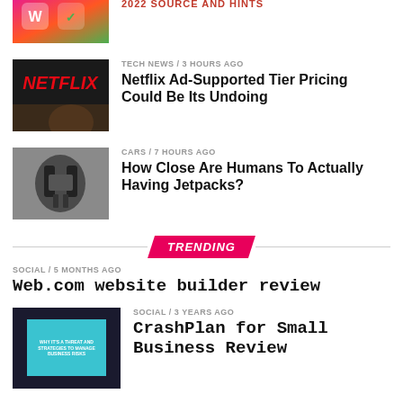[Figure (photo): Colorful app icons on phone screen - top cropped]
TECH NEWS / 3 hours ago
Netflix Ad-Supported Tier Pricing Could Be Its Undoing
[Figure (photo): Netflix logo on dark TV screen with person eating popcorn]
CARS / 7 hours ago
How Close Are Humans To Actually Having Jetpacks?
[Figure (photo): Jetpack device close-up]
TRENDING
SOCIAL / 5 months ago
Web.com website builder review
[Figure (photo): Business risk management document with cyan highlight]
SOCIAL / 3 years ago
CrashPlan for Small Business Review
[Figure (photo): Gadgets article thumbnail - partial view]
GADGETS / 4 years ago